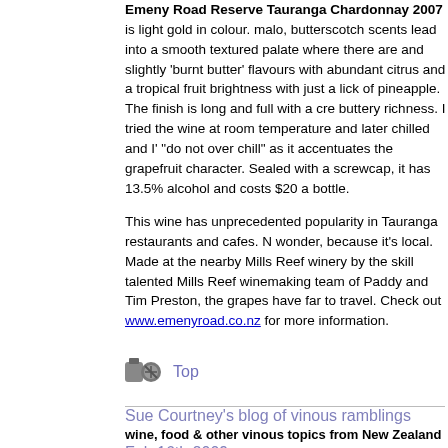Emeny Road Reserve Tauranga Chardonnay 2007 is light gold in colour. malo, butterscotch scents lead into a smooth textured palate where there are and slightly 'burnt butter' flavours with abundant citrus and a tropical fruit brightness with just a lick of pineapple. The finish is long and full with a cre buttery richness. I tried the wine at room temperature and later chilled and I' "do not over chill" as it accentuates the grapefruit character. Sealed with a screwcap, it has 13.5% alcohol and costs $20 a bottle.
This wine has unprecedented popularity in Tauranga restaurants and cafes. N wonder, because it's local. Made at the nearby Mills Reef winery by the skill talented Mills Reef winemaking team of Paddy and Tim Preston, the grapes have far to travel. Check out www.emenyroad.co.nz for more information.
[Figure (other): Small icon image of wine bottle cork/screw]
Top
Sue Courtney's blog of vinous ramblings
wine, food & other vinous topics from New Zealand
Feb 16th 2009
Peachy Chardonnay
Yesterday it was the turn of the sweeties. Today is the peach and Chardonna time awesome Chardonnay and fresh peach experience. The first time we di peaches and Chardonnay was with the Mission Jewelstone Hawkes Bay Ch Chardonnays, I would have to say and I've been searching for the ultimate pe since. I hope I never find it.
The wine I chose for this year's peach and Chardonnay test is Sileni The L